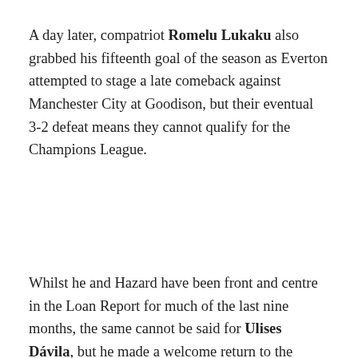A day later, compatriot Romelu Lukaku also grabbed his fifteenth goal of the season as Everton attempted to stage a late comeback against Manchester City at Goodison, but their eventual 3-2 defeat means they cannot qualify for the Champions League.
Whilst he and Hazard have been front and centre in the Loan Report for much of the last nine months, the same cannot be said for Ulises Dávila, but he made a welcome return to the headlines on